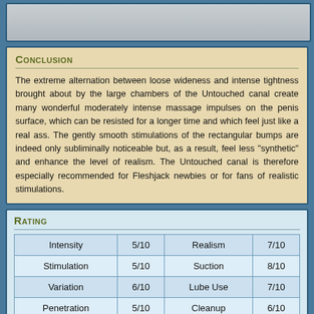[Figure (photo): Top banner image, partially cropped photo]
Conclusion
The extreme alternation between loose wideness and intense tightness brought about by the large chambers of the Untouched canal create many wonderful moderately intense massage impulses on the penis surface, which can be resisted for a longer time and which feel just like a real ass. The gently smooth stimulations of the rectangular bumps are indeed only subliminally noticeable but, as a result, feel less "synthetic" and enhance the level of realism. The Untouched canal is therefore especially recommended for Fleshjack newbies or for fans of realistic stimulations.
Rating
|  |  |  |  |
| --- | --- | --- | --- |
| Intensity | 5/10 | Realism | 7/10 |
| Stimulation | 5/10 | Suction | 8/10 |
| Variation | 6/10 | Lube Use | 7/10 |
| Penetration | 5/10 | Cleanup | 6/10 |
| Tightness | 6/10 | Dry Time | 6/10 |